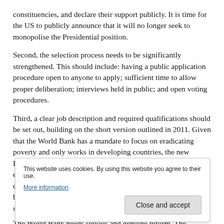constituencies, and declare their support publicly. It is time for the US to publicly announce that it will no longer seek to monopolise the Presidential position.
Second, the selection process needs to be significantly strengthened. This should include: having a public application procedure open to anyone to apply; sufficient time to allow proper deliberation; interviews held in public; and open voting procedures.
Third, a clear job description and required qualifications should be set out, building on the short version outlined in 2011. Given that the World Bank has a mandate to focus on eradicating poverty and only works in developing countries, the new President should have strong understanding and e
c
b
s
The World Bank needs serious and genuine reform. The
This website uses cookies. By using this website you agree to their use. More information